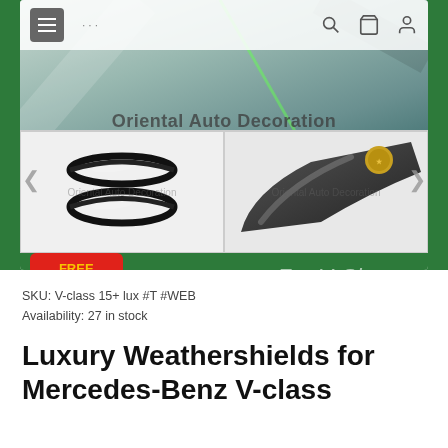[Figure (screenshot): E-commerce product page screenshot for Oriental Auto Decoration showing luxury weathershields for Mercedes-Benz V-Class. Top section has a green-themed banner with navigation bar, car interior background image, product images (pair of black weathershields on left, close-up detail on right), a red FREE DELIVERY badge, and 'For V-Class' italic text. Below the banner shows SKU, availability, and product title.]
SKU: V-class 15+ lux #T #WEB
Availability: 27 in stock
Luxury Weathershields for Mercedes-Benz V-class